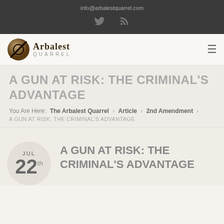info@arbalestquarrel.com
[Figure (logo): Arbalest Quarrel website logo with circular emblem and stylized text]
A GUN AT RISK: THE CRIMINAL'S ADVANTAGE
You Are Here: The Arbalest Quarrel › Article › 2nd Amendment › A GUN AT RISK: THE CRIMINAL'S ADVANTAGE
A GUN AT RISK: THE CRIMINAL'S ADVANTAGE
JUL 22th